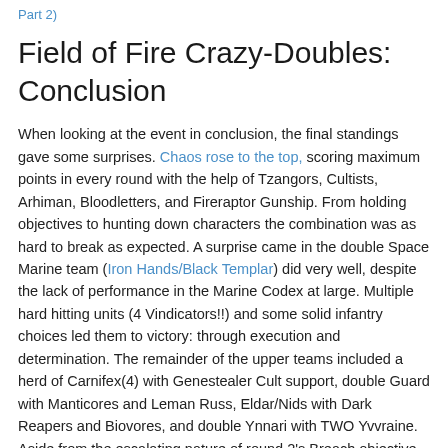Part 2)
Field of Fire Crazy-Doubles: Conclusion
When looking at the event in conclusion, the final standings gave some surprises. Chaos rose to the top, scoring maximum points in every round with the help of Tzangors, Cultists, Arhiman, Bloodletters, and Fireraptor Gunship. From holding objectives to hunting down characters the combination was as hard to break as expected. A surprise came in the double Space Marine team (Iron Hands/Black Templar) did very well, despite the lack of performance in the Marine Codex at large. Multiple hard hitting units (4 Vindicators!!) and some solid infantry choices led them to victory: through execution and determination. The remainder of the upper teams included a herd of Carnifex(4) with Genestealer Cult support, double Guard with Manticores and Leman Russ, Eldar/Nids with Dark Reapers and Biovores, and double Ynnari with TWO Yvvraine. Aside from the escalating nature of round 2's Breach objective, scoring showed the struggles in each match.